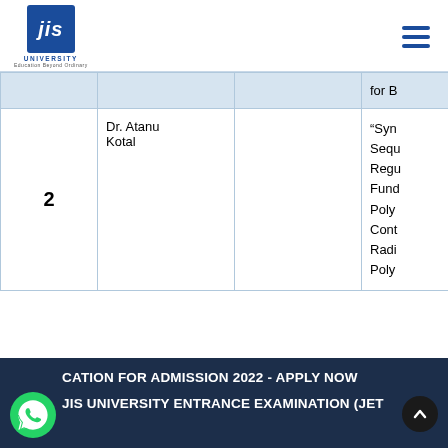[Figure (logo): JIS University logo with blue square and tagline 'Education Beyond Ordinary']
|  |  |  | for B... |
| --- | --- | --- | --- |
| 2 | Dr. Atanu Kotal |  | "Syn... Sequ... Regu... Fund... Poly... Cont... Radi... Poly... |
CATION FOR ADMISSION 2022 - APPLY NOW
JIS UNIVERSITY ENTRANCE EXAMINATION (JET)